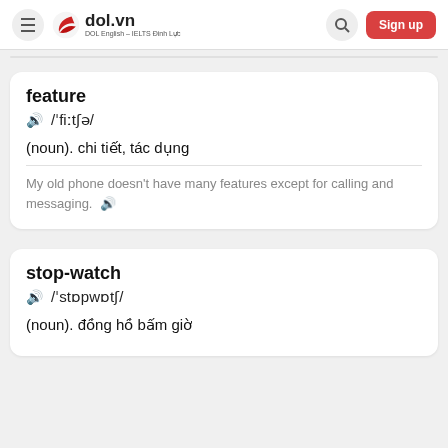dol.vn DOL English – IELTS Đinh Lực Sign up
feature
🔊 /ˈfiːtʃə/
(noun). chi tiết, tác dụng
My old phone doesn't have many features except for calling and messaging. 🔊
stop-watch
🔊 /ˈstɒpwɒtʃ/
(noun). đồng hồ bấm giờ